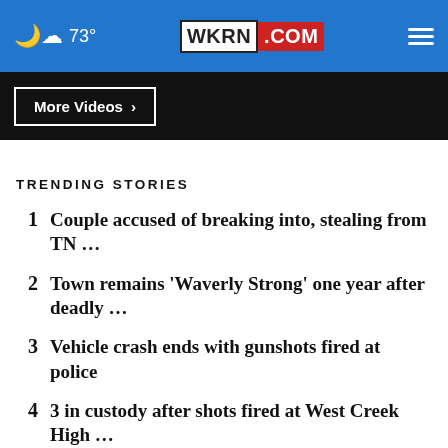73° WKRN.COM
More Videos ›
TRENDING STORIES
1 Couple accused of breaking into, stealing from TN ...
2 Town remains 'Waverly Strong' one year after deadly ...
3 Vehicle crash ends with gunshots fired at police
4 3 in custody after shots fired at West Creek High ...